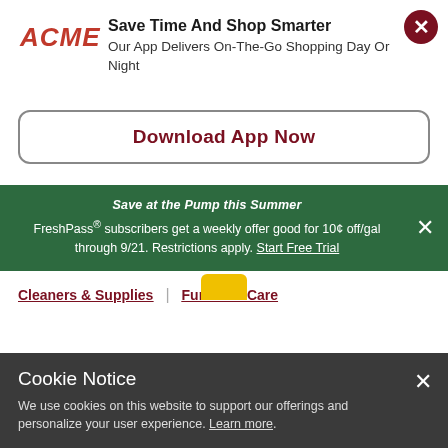[Figure (logo): ACME grocery store logo in red italic bold text]
Save Time And Shop Smarter
Our App Delivers On-The-Go Shopping Day Or Night
Download App Now
Save at the Pump this Summer
FreshPass® subscribers get a weekly offer good for 10¢ off/gal through 9/21. Restrictions apply. Start Free Trial
Cleaners & Supplies
Furniture Care
Cookie Notice
We use cookies on this website to support our offerings and personalize your user experience. Learn more.